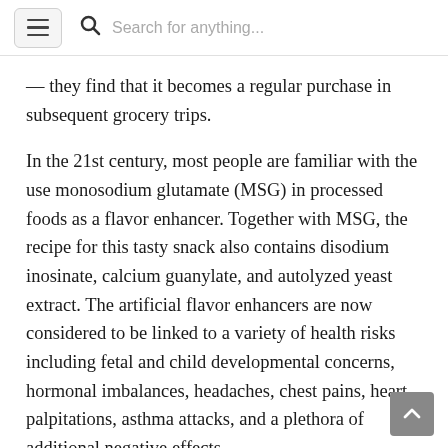Search for anything...
— they find that it becomes a regular purchase in subsequent grocery trips.
In the 21st century, most people are familiar with the use monosodium glutamate (MSG) in processed foods as a flavor enhancer. Together with MSG, the recipe for this tasty snack also contains disodium inosinate, calcium guanylate, and autolyzed yeast extract. The artificial flavor enhancers are now considered to be linked to a variety of health risks including fetal and child developmental concerns, hormonal imbalances, headaches, chest pains, heart palpitations, asthma attacks, and a plethora of additional negative effects.